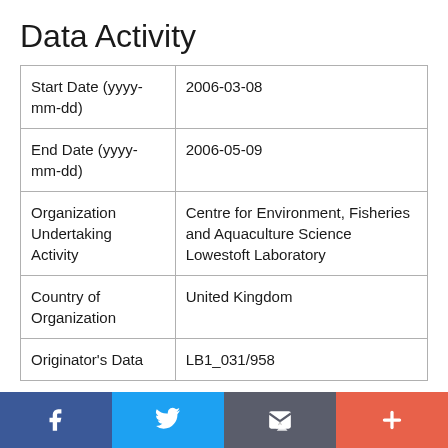Data Activity
| Start Date (yyyy-mm-dd) | 2006-03-08 |
| End Date (yyyy-mm-dd) | 2006-05-09 |
| Organization Undertaking Activity | Centre for Environment, Fisheries and Aquaculture Science Lowestoft Laboratory |
| Country of Organization | United Kingdom |
| Originator's Data | LB1_031/958 |